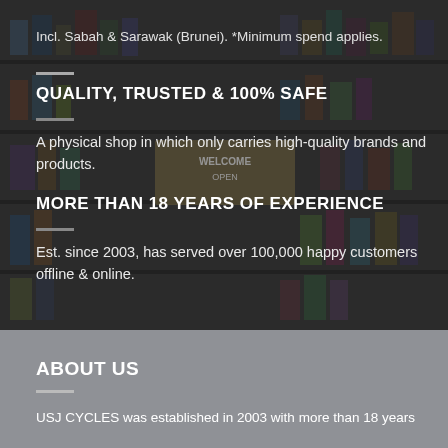[Figure (photo): Background photo of a bicycle shop interior with many products and accessories on display, overlaid with dark transparent layer]
Incl. Sabah & Sarawak (Brunei). *Minimum spend applies.
QUALITY, TRUSTED & 100% SAFE
A physical shop in which only carries high-quality brands and products.
MORE THAN 18 YEARS OF EXPERIENCE
Est. since 2003, has served over 100,000 happy customers offline & online.
ABOUT US
USJ CYCLES was established in 2003 with more than 18 years